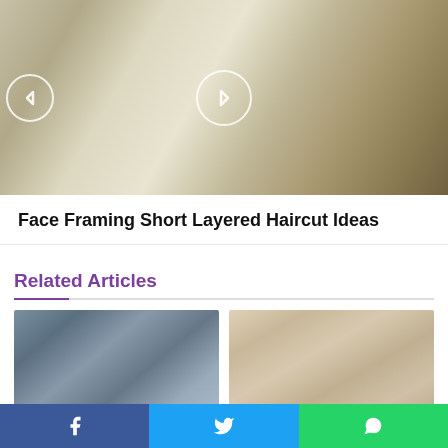[Figure (photo): Close-up photo of a woman with short layered blonde haircut, face framing style, with navigation arrows overlaid]
Face Framing Short Layered Haircut Ideas
Related Articles
[Figure (photo): Photo of a man with long curly brown hair and glasses wearing a blue shirt]
[Figure (photo): Photo of a woman with long brown hair styled with braids and half-up style]
Awesome Curly Hairstyles
Super Curling Iron hairstyles for long hair